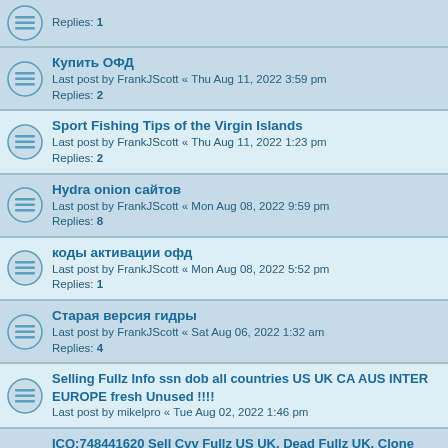Replies: 1
Купить ОФД
Last post by FrankJScott « Thu Aug 11, 2022 3:59 pm
Replies: 2
Sport Fishing Tips of the Virgin Islands
Last post by FrankJScott « Thu Aug 11, 2022 1:23 pm
Replies: 2
Hydra onion сайтов
Last post by FrankJScott « Mon Aug 08, 2022 9:59 pm
Replies: 8
коды активации офд
Last post by FrankJScott « Mon Aug 08, 2022 5:52 pm
Replies: 1
Старая версия гидры
Last post by FrankJScott « Sat Aug 06, 2022 1:32 am
Replies: 4
Selling Fullz Info ssn dob all countries US UK CA AUS INTER EUROPE fresh Unused !!!!
Last post by mikelpro « Tue Aug 02, 2022 1:46 pm
ICQ:748441620 Sell Cvv Fullz US UK, Dead Fullz UK, Clone Card, Dumps Pin, Bank Login, PayPal, WU Transfer, Cash App Tran
Last post by acered7979 « Fri Jul 29, 2022 9:34 am
продажа кодов активации офд
Last post by Antoniojmx « Thu Jul 28, 2022 2:06 pm
коды активации офд
Last post by Andreasjxb « Thu Jul 28, 2022 1:47 pm
продажа кодов активации офд